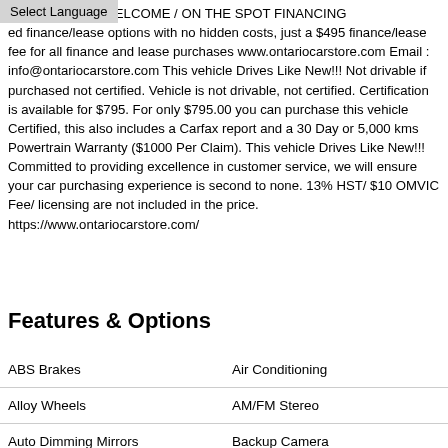Select Language
-0946 TRADES WELCOME / ON THE SPOT FINANCING ed finance/lease options with no hidden costs, just a $495 finance/lease fee for all finance and lease purchases www.ontariocarstore.com Email : info@ontariocarstore.com This vehicle Drives Like New!!! Not drivable if purchased not certified. Vehicle is not drivable, not certified. Certification is available for $795. For only $795.00 you can purchase this vehicle Certified, this also includes a Carfax report and a 30 Day or 5,000 kms Powertrain Warranty ($1000 Per Claim). This vehicle Drives Like New!!! Committed to providing excellence in customer service, we will ensure your car purchasing experience is second to none. 13% HST/ $10 OMVIC Fee/ licensing are not included in the price. https://www.ontariocarstore.com/
Features & Options
|  |  |
| --- | --- |
| ABS Brakes | Air Conditioning |
| Alloy Wheels | AM/FM Stereo |
| Auto Dimming Mirrors | Backup Camera |